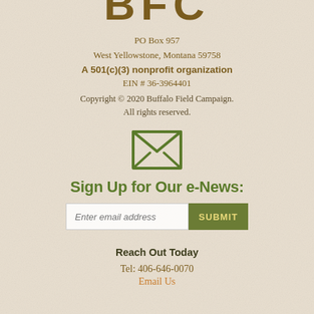[Figure (logo): BFC logo letters partially visible at top]
PO Box 957
West Yellowstone, Montana 59758
A 501(c)(3) nonprofit organization
EIN # 36-3964401
Copyright © 2020 Buffalo Field Campaign.
All rights reserved.
[Figure (illustration): Green envelope/email icon]
Sign Up for Our e-News:
Enter email address [input field] SUBMIT [button]
Reach Out Today
Tel: 406-646-0070
Email Us